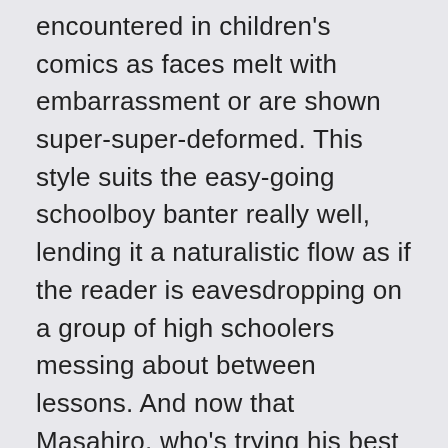encountered in children's comics as faces melt with embarrassment or are shown super-super-deformed. This style suits the easy-going schoolboy banter really well, lending it a naturalistic flow as if the reader is eavesdropping on a group of high schoolers messing about between lessons. And now that Masahiro, who's trying his best in spite of his straitened home circumstances, finds someone whom he really cares about – Kousuke – you can't help rooting for him. When it comes to feelings, he's honest, awkwardly sincere and touchingly naive. Okay, then we get into Love Hotel territory